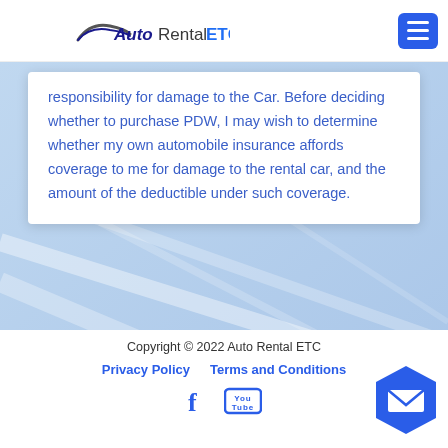AutoRentalETC
responsibility for damage to the Car. Before deciding whether to purchase PDW, I may wish to determine whether my own automobile insurance affords coverage to me for damage to the rental car, and the amount of the deductible under such coverage.
Copyright © 2022 Auto Rental ETC
Privacy Policy   Terms and Conditions